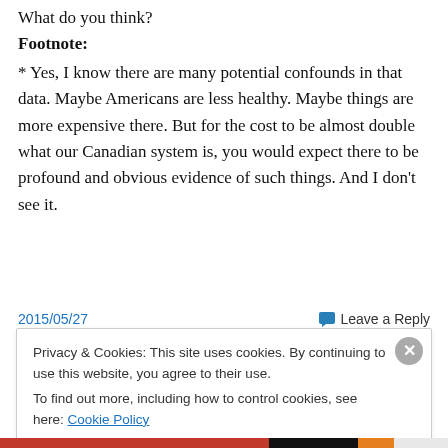What do you think?
Footnote:
* Yes, I know there are many potential confounds in that data. Maybe Americans are less healthy. Maybe things are more expensive there. But for the cost to be almost double what our Canadian system is, you would expect there to be profound and obvious evidence of such things. And I don't see it.
2015/05/27
Leave a Reply
Privacy & Cookies: This site uses cookies. By continuing to use this website, you agree to their use.
To find out more, including how to control cookies, see here: Cookie Policy